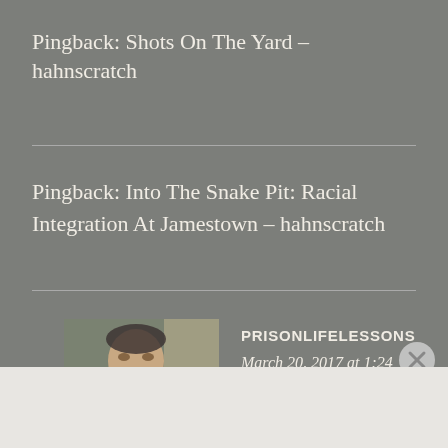Pingback: Shots On The Yard – hahnscratch
Pingback: Into The Snake Pit: Racial Integration At Jamestown – hahnscratch
PRISONLIFELESSONS
March 20, 2017 at 1:24 am
[Figure (photo): Avatar photo of a person, appears to be shirtless with tattoos, indoor background]
[Figure (other): Close button (X circle) overlay in bottom right]